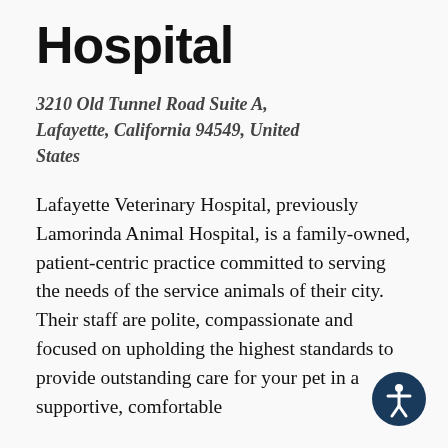Hospital
3210 Old Tunnel Road Suite A, Lafayette, California 94549, United States
Lafayette Veterinary Hospital, previously Lamorinda Animal Hospital, is a family-owned, patient-centric practice committed to serving the needs of the service animals of their city. Their staff are polite, compassionate and focused on upholding the highest standards to provide outstanding care for your pet in a supportive, comfortable